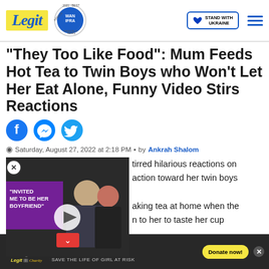Legit – WAN IFRA 2021 Best News Website in Africa – STAND WITH UKRAINE
"They Too Like Food": Mum Feeds Hot Tea to Twin Boys who Won't Let Her Eat Alone, Funny Video Stirs Reactions
[Figure (illustration): Social share icons: Facebook, Messenger, Twitter]
Saturday, August 27, 2022 at 2:18 PM • by Ankrah Shalom
[Figure (screenshot): Embedded video thumbnail with play button and text overlay 'INVITED ME TO BE HER BOYFRIEND']
...tirred hilarious reactions on social media due to her bold action toward her twin boys ...aking tea at home when the ...n to her to taste her cup ...was still hot, the mother
[Figure (other): Advertisement banner: Legit Charity – YOUR SUPPORT MATTERS! SAVE THE LIFE OF GIRL AT RISK – Donate now!]